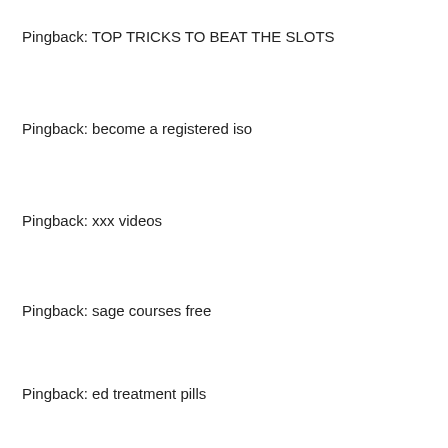Pingback: TOP TRICKS TO BEAT THE SLOTS
Pingback: become a registered iso
Pingback: xxx videos
Pingback: sage courses free
Pingback: ed treatment pills
Pingback: Viagra bez recepty